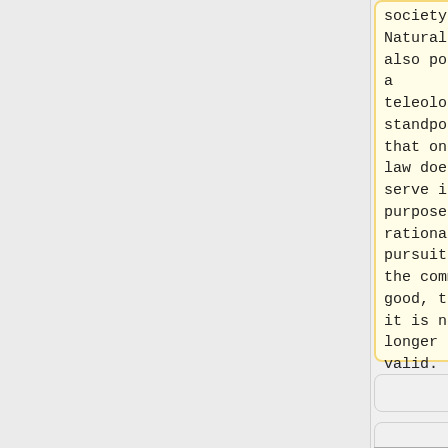society. Natural Law also posits a teleological standpoint, that once a law does serve it's purpose of a rational pursuit of the common good, then it is no longer valid.
society. Natural Law also posits a teleological standpoint, that once a law does serve it's purpose of a rational pursuit of the common good, then it is no longer valid.